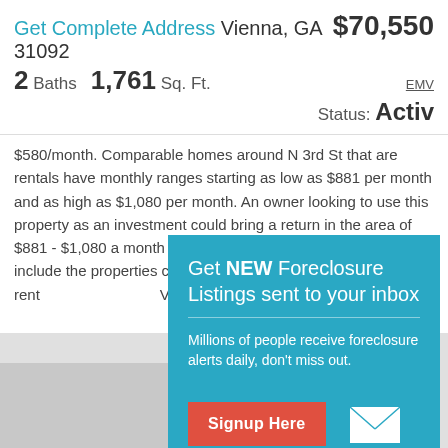Get Complete Address Vienna, GA 31092 $70,550
2 Baths  1,761 Sq. Ft.
EMV
Status: Active
$580/month. Comparable homes around N 3rd St that are rentals have monthly ranges starting as low as $881 per month and as high as $1,080 per month. An owner looking to use this property as an investment could bring a return in the area of $881 - $1,080 a month based on the same factors which include the properties condition, location, and size. To collect a full two years of rent, all at once would equal the Automated Value (AVM) of this pr
[Figure (infographic): Modal popup overlay with teal background. Title: Get NEW Foreclosure Listings sent to your inbox. Description: Millions of people receive foreclosure alerts daily, don't miss out. Red Signup Here button. Mail envelope icon. Links: No Thanks | Remind Me Later.]